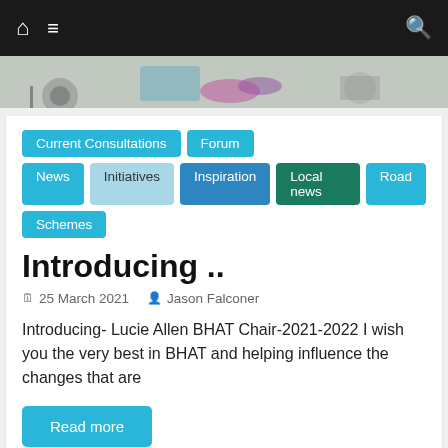Navigation bar with home, menu, and search icons
[Figure (photo): Hero image showing cyclists and colorful background]
Current Consultations
Forum
News
Initiatives
Inspiration
Local news
Road
Schemes
Introducing ..
25 March 2021   Jason Falconer
Introducing- Lucie Allen BHAT Chair-2021-2022 I wish you the very best in BHAT and helping influence the changes that are
Read more